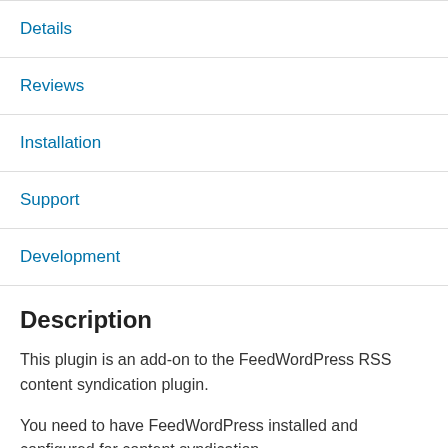Details
Reviews
Installation
Support
Development
Description
This plugin is an add-on to the FeedWordPress RSS content syndication plugin.
You need to have FeedWordPress installed and configured for content syndication.